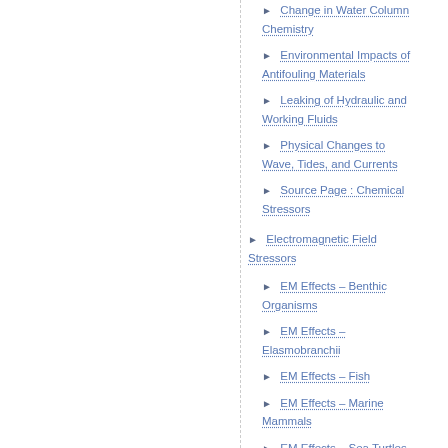Change in Water Column Chemistry
Environmental Impacts of Antifouling Materials
Leaking of Hydraulic and Working Fluids
Physical Changes to Wave, Tides, and Currents
Source Page : Chemical Stressors
Electromagnetic Field Stressors
EM Effects – Benthic Organisms
EM Effects – Elasmobranchii
EM Effects – Fish
EM Effects – Marine Mammals
EM Effects – Sea Turtles
Physical & Resource...